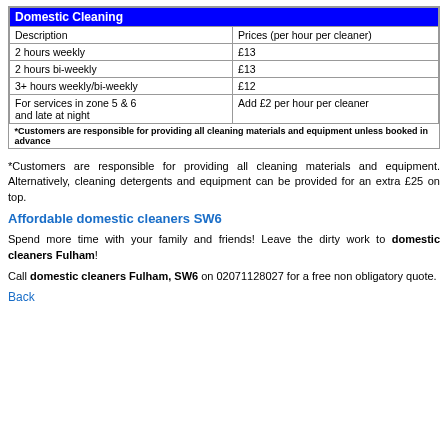| Description | Prices (per hour per cleaner) |
| --- | --- |
| 2 hours weekly | £13 |
| 2 hours bi-weekly | £13 |
| 3+ hours weekly/bi-weekly | £12 |
| For services in zone 5 & 6 and late at night | Add £2 per hour per cleaner |
| *Customers are responsible for providing all cleaning materials and equipment unless booked in advance |  |
*Customers are responsible for providing all cleaning materials and equipment. Alternatively, cleaning detergents and equipment can be provided for an extra £25 on top.
Affordable domestic cleaners SW6
Spend more time with your family and friends! Leave the dirty work to domestic cleaners Fulham!
Call domestic cleaners Fulham, SW6 on 02071128027 for a free non obligatory quote.
Back